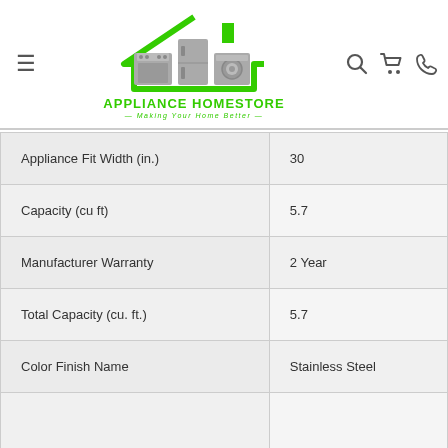[Figure (logo): Appliance Homestore logo with green house outline and grey appliance icons, green text APPLIANCE HOMESTORE and tagline Making Your Home Better]
| Specification | Value |
| --- | --- |
| Appliance Fit Width (in.) | 30 |
| Capacity (cu ft) | 5.7 |
| Manufacturer Warranty | 2 Year |
| Total Capacity (cu. ft.) | 5.7 |
| Color Finish Name | Stainless Steel |
|  |  |